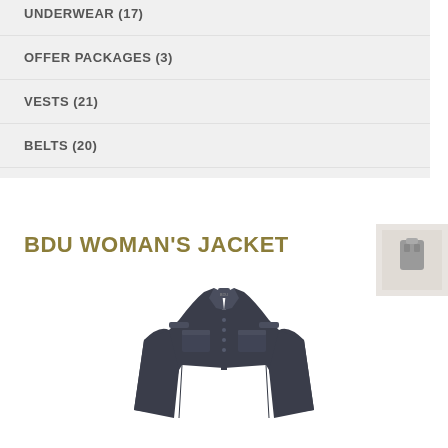UNDERWEAR (17)
OFFER PACKAGES (3)
VESTS (21)
BELTS (20)
BDU WOMAN'S JACKET
[Figure (photo): A dark navy blue BDU woman's jacket with collar, epaulettes, chest pockets with flaps, and button-front closure, displayed on an invisible mannequin.]